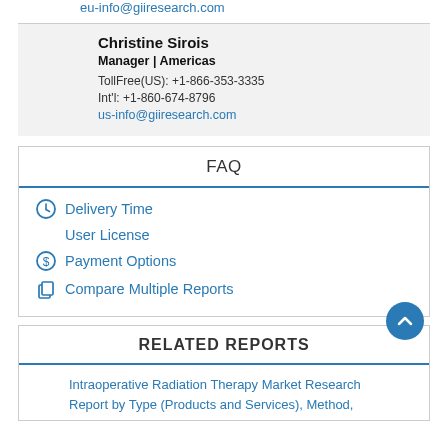eu-info@giiresearch.com
Christine Sirois
Manager | Americas
TollFree(US): +1-866-353-3335
Int'l: +1-860-674-8796
us-info@giiresearch.com
FAQ
Delivery Time
User License
Payment Options
Compare Multiple Reports
RELATED REPORTS
Intraoperative Radiation Therapy Market Research Report by Type (Products and Services), Method,